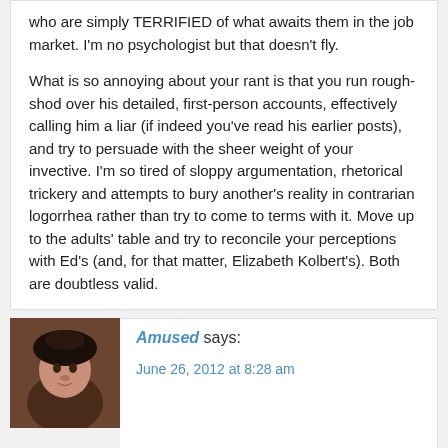who are simply TERRIFIED of what awaits them in the job market. I'm no psychologist but that doesn't fly.

What is so annoying about your rant is that you run rough-shod over his detailed, first-person accounts, effectively calling him a liar (if indeed you've read his earlier posts), and try to persuade with the sheer weight of your invective. I'm so tired of sloppy argumentation, rhetorical trickery and attempts to bury another's reality in contrarian logorrhea rather than try to come to terms with it. Move up to the adults' table and try to reconcile your perceptions with Ed's (and, for that matter, Elizabeth Kolbert's). Both are doubtless valid.
[Figure (photo): Avatar photo of commenter Amused — dark-haired person]
Amused says:
June 26, 2012 at 8:28 am